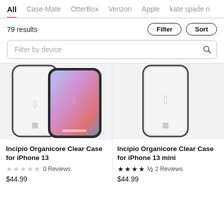All  Case-Mate  OtterBox  Verizon  Apple  kate spade n
79 results
Filter  Sort
Filter by device
[Figure (photo): Incipio Organicore Clear Case for iPhone 13 - product photo showing back of phone case and front of phone with colorful gradient display]
Incipio Organicore Clear Case for iPhone 13
0 Reviews
$44.99
[Figure (photo): Incipio Organicore Clear Case for iPhone 13 mini - product photo showing back of phone case]
Incipio Organicore Clear Case for iPhone 13 mini
4.5 stars  2 Reviews
$44.99